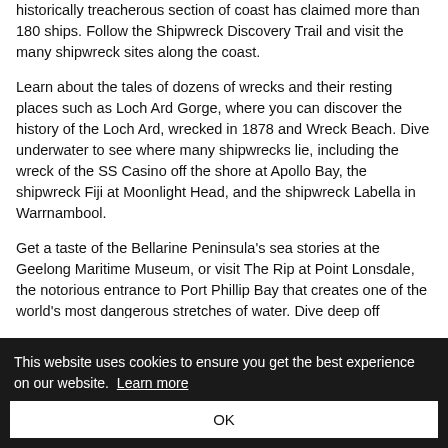historically treacherous section of coast has claimed more than 180 ships. Follow the Shipwreck Discovery Trail and visit the many shipwreck sites along the coast.
Learn about the tales of dozens of wrecks and their resting places such as Loch Ard Gorge, where you can discover the history of the Loch Ard, wrecked in 1878 and Wreck Beach. Dive underwater to see where many shipwrecks lie, including the wreck of the SS Casino off the shore at Apollo Bay, the shipwreck Fiji at Moonlight Head, and the shipwreck Labella in Warrnambool.
Get a taste of the Bellarine Peninsula's sea stories at the Geelong Maritime Museum, or visit The Rip at Point Lonsdale, the notorious entrance to Port Phillip Bay that creates one of the world's most dangerous stretches of water. Dive deep off Queenscliff to explore the long-wrecked ships lying deep underwater.
This website uses cookies to ensure you get the best experience on our website. Learn more
OK